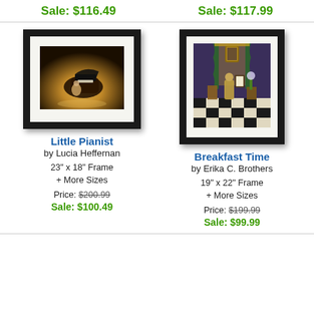Sale: $116.49
Sale: $117.99
[Figure (photo): Framed photo of a pianist playing a grand piano on a stage under spotlight]
Little Pianist
by Lucia Heffernan
23" x 18" Frame
+ More Sizes
Price: $200.99
Sale: $100.49
[Figure (photo): Framed illustration of a figure in Victorian room with checkered floor, ornate window with drapes]
Breakfast Time
by Erika C. Brothers
19" x 22" Frame
+ More Sizes
Price: $199.99
Sale: $99.99